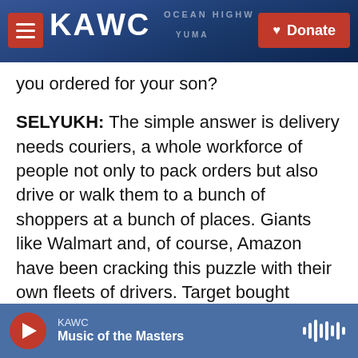KAWC | Donate
you ordered for your son?
SELYUKH: The simple answer is delivery needs couriers, a whole workforce of people not only to pack orders but also drive or walk them to a bunch of shoppers at a bunch of places. Giants like Walmart and, of course, Amazon have been cracking this puzzle with their own fleets of drivers. Target bought delivery company Shipt. But for most retailers, their own logistics operation is a bit fanciful, like my random suggestion here.
Maybe like a really glamorous robot that just drives
KAWC | Music of the Masters